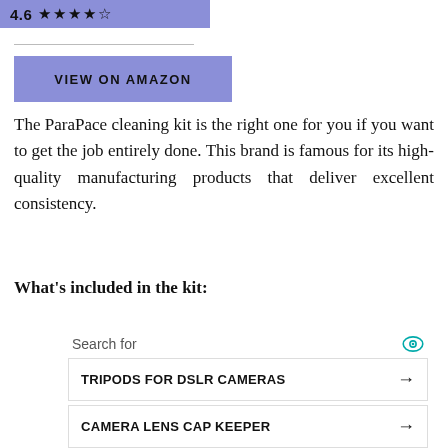[Figure (other): Rating bar showing 4.6 stars with blue-purple background]
[Figure (other): VIEW ON AMAZON button with blue-purple background]
The ParaPace cleaning kit is the right one for you if you want to get the job entirely done. This brand is famous for its high-quality manufacturing products that deliver excellent consistency.
What’s included in the kit:
[Figure (infographic): Ad widget with Search for label, eye icon, two search links (TRIPODS FOR DSLR CAMERAS and CAMERA LENS CAP KEEPER) with arrows, and Business Focus ad footer]